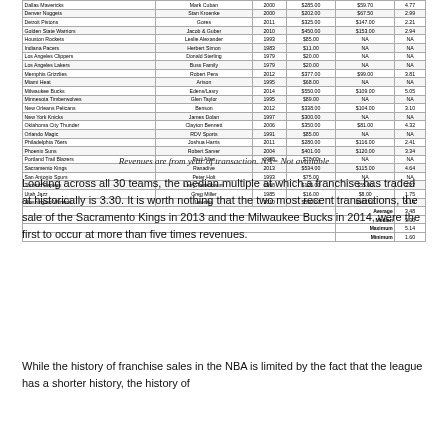| Team | Owner | Year | Price | Revenues | Multiple |
| --- | --- | --- | --- | --- | --- |
| Dallas Mavericks | Mark Cuban | 2000 | $285.00 | $59.70 | 4.77 |
| Denver Nuggets | Stan Kroenke | 2000 | $202.00 | $67.50 | 2.99 |
| Detroit Pistons | Gores | 2011 | $325.00 | $147.00 | 2.21 |
| Golden State Warriors | Jacob & Guber | 2010 | $450.00 | $153.00 | 2.94 |
| Houston Rockets | Leslie Alexander | 1993 | $85.00 | NA | NA |
| Indiana Pacers | Herbert Simon | 1983 | $11.00 | NA | NA |
| Los Angeles Clippers | Donald Sterling | 1979 | $20.00 | NA | NA |
| Los Angeles Lakers | Buss Family | 1979 | $20.00 | NA | NA |
| Memphis Grizzlies | Robert Pera | 2012 | $377.00 | $99.00 | 3.81 |
| Miami Heat | Arison | 1995 | $68.00 | NA | NA |
| Milwaukee Bucks | Edens/Lasry | 2014 | $550.00 | $109.00 | 5.05 |
| Minnesota Timberwolves | Glen Taylor | 1995 | $89.00 | NA | NA |
| New Orleans Pelicans | Benson | 2012 | $338.00 | $104.00 | 3.10 |
| New York Knicks | James Dolan | 1997 | $300.00 | NA | NA |
| Oklahoma City Thunder | Clayton Bennett | 2006 | $350.00 | $81.00 | 4.32 |
| Orlando Magic | RDV Sports | 1991 | $85.00 | NA | NA |
| Philadelphia 76ers | Joshua Harris | 2011 | $280.00 | $116.00 | 2.41 |
| Phoenix Suns | Robert Sarver | 2004 | $401.00 | $120.00 | 3.34 |
| Portland Trail Blazers | Paul Allen | 1988 | $70.00 | NA | NA |
| Sacramento Kings | Ranadive | 2013 | $534.00 | $115.00 | 4.64 |
| San Antonio Spurs | Peter Holt | 1993 | $75.00 | NA | NA |
| Toronto Raptors | Larry Tanenbaum | 1998 | $125.00 | $55.00 | 2.27 |
| Utah Jazz | Greg Miller | 1985 | $16.00 | $8.00 | 1.75 |
| Washington Wizards | Leonsis | 2010 | $550.00 | $107.00 | 5.14 |
Revenues are from year of transaction. NA= Not available
Looking across all 30 teams, the median multiple at which a franchise has traded at historically is 3.30. It is worth nothing that the two most recent transactions, the sale of the Sacramento Kings in 2013 and the Milwaukee Bucks in 2014, were the first to occur at more than five times revenues.
While the history of franchise sales in the NBA is limited by the fact that the league has a shorter history, the history of